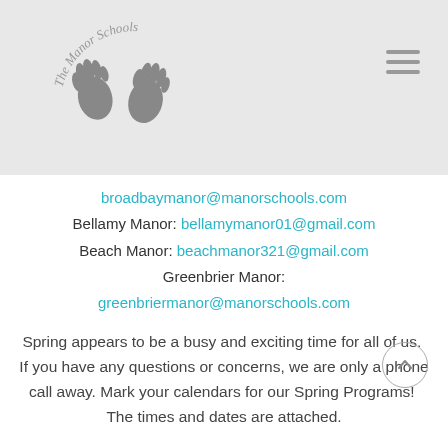[Figure (logo): The Manor Schools logo with two handprints and cursive text around them]
broadbaymanor@manorschools.com
Bellamy Manor: bellamymanor01@gmail.com
Beach Manor: beachmanor321@gmail.com
Greenbrier Manor:
greenbriermanor@manorschools.com
Spring appears to be a busy and exciting time for all of us.  If you have any questions or concerns, we are only a phone call away. Mark your calendars for our Spring Programs!  The times and dates are attached.
Thank you,
Kristina 😊